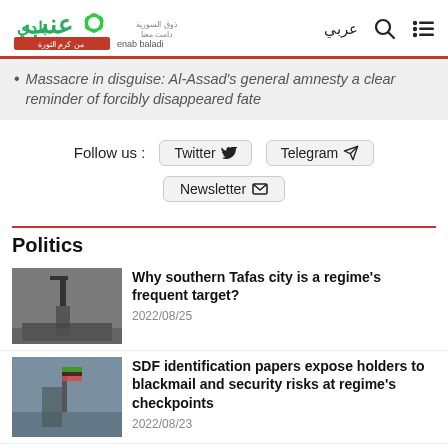enab baladi — عربي
Massacre in disguise: Al-Assad's general amnesty a clear reminder of forcibly disappeared fate
Follow us : Twitter  Telegram  Newsletter
Politics
[Figure (photo): Armed fighter on rooftop, black and white photo]
Why southern Tafas city is a regime's frequent target?
2022/08/25
[Figure (photo): Person on structure with flag, outdoor photo]
SDF identification papers expose holders to blackmail and security risks at regime's checkpoints
2022/08/23
[Figure (photo): Crowd scene, outdoor photo]
Abuses mount in SNA-held areas; popular...